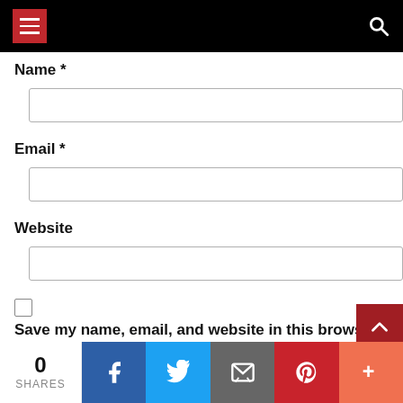Navigation header with menu button and search icon
Name *
Email *
Website
Save my name, email, and website in this browser for the next time I comment.
0 SHARES | Facebook | Twitter | Email | Pinterest | More